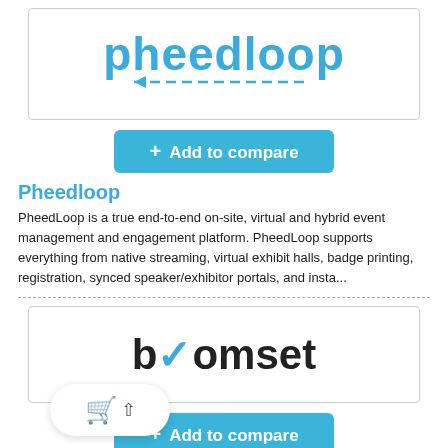[Figure (logo): Pheedloop logo — stylized blue cursive text 'pheedloop' with a dashed arrow line below]
+ Add to compare
Pheedloop
PheedLoop is a true end-to-end on-site, virtual and hybrid event management and engagement platform. PheedLoop supports everything from native streaming, virtual exhibit halls, badge printing, registration, synced speaker/exhibitor portals, and insta...
[Figure (logo): Boomset logo — bold black text with a blue checkmark replacing the 'o' in 'boomset']
+ Add to compare
Boomset
The e... one event management solutions for in-person or